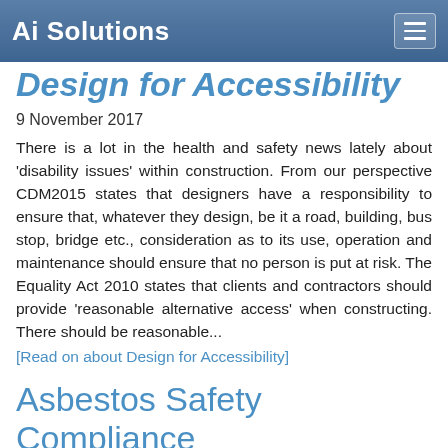Ai Solutions
Design for Accessibility
9 November 2017
There is a lot in the health and safety news lately about 'disability issues' within construction. From our perspective CDM2015 states that designers have a responsibility to ensure that, whatever they design, be it a road, building, bus stop, bridge etc., consideration as to its use, operation and maintenance should ensure that no person is put at risk. The Equality Act 2010 states that clients and contractors should provide 'reasonable alternative access' when constructing. There should be reasonable...
[Read on about Design for Accessibility]
Asbestos Safety Compliance
8 November 2017
For most landlords and larger organisations trying to ensure you are complying with the law regarding Asbestos can be fraught